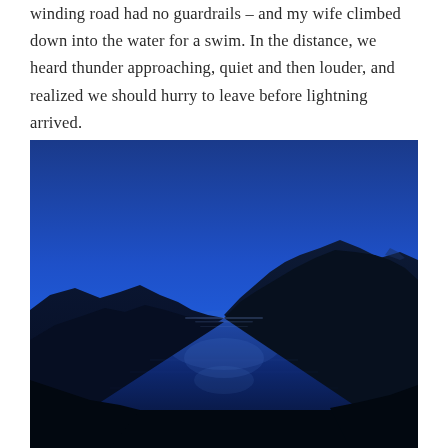winding road had no guardrails – and my wife climbed down into the water for a swim. In the distance, we heard thunder approaching, quiet and then louder, and realized we should hurry to leave before lightning arrived.
[Figure (photo): A twilight/dusk photograph of a mountain lake surrounded by dark silhouetted mountain ridges. The sky is a deep, vivid blue gradient, and the calm water reflects the blue sky and mountain shapes. The scene is moody and dramatic with dark foreground and mountains framing a narrow valley leading into the distance.]